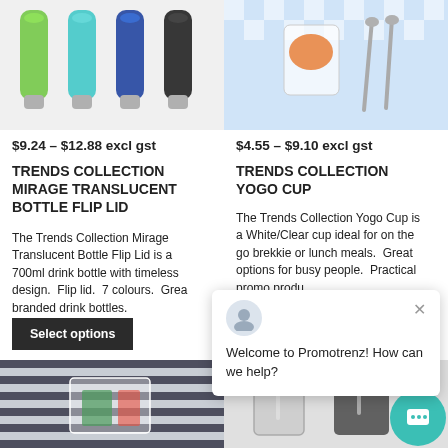[Figure (photo): Four translucent drink bottles in green, teal, dark blue, and black colors with metal bases, shown side by side]
$9.24 – $12.88 excl gst
TRENDS COLLECTION MIRAGE TRANSLUCENT BOTTLE FLIP LID
The Trends Collection Mirage Translucent Bottle Flip Lid is a 700ml drink bottle with timeless design. Flip lid. 7 colours. Grea branded drink bottles.
Select options
[Figure (photo): A white/clear cup with orange food and a spoon on a blue and white checkered cloth background — Yogo Cup product photo]
$4.55 – $9.10 excl gst
TRENDS COLLECTION YOGO CUP
The Trends Collection Yogo Cup is a White/Clear cup ideal for on the go brekkie or lunch meals. Great options for busy people. Practical promo produ
[Figure (photo): Person wearing a striped black and white shirt with a clear tote bag — lanyard bag product photo]
[Figure (photo): Two clear cups with lids and straws in grey tones — tumbler product photo]
Welcome to Promotrenz! How can we help?